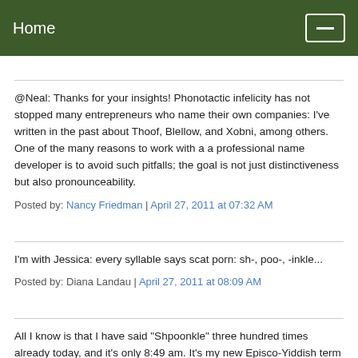Home
@Neal: Thanks for your insights! Phonotactic infelicity has not stopped many entrepreneurs who name their own companies: I've written in the past about Thoof, Blellow, and Xobni, among others. One of the many reasons to work with a a professional name developer is to avoid such pitfalls; the goal is not just distinctiveness but also pronounceability.
Posted by: Nancy Friedman | April 27, 2011 at 07:32 AM
I'm with Jessica: every syllable says scat porn: sh-, poo-, -inkle...
Posted by: Diana Landau | April 27, 2011 at 08:09 AM
All I know is that I have said "Shpoonkle" three hundred times already today, and it's only 8:49 am. It's my new Episco-Yiddish term of endearment for my husband, my kids, and my dog. As in